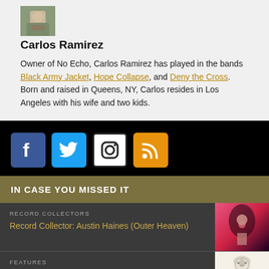[Figure (photo): Photo of Carlos Ramirez, cropped top portion showing a person outdoors]
Carlos Ramirez
Owner of No Echo, Carlos Ramirez has played in the bands Black Army Jacket, Hope Collapse, and Deny the Cross. Born and raised in Queens, NY, Carlos resides in Los Angeles with his wife and two kids.
[Figure (infographic): Social media icons: Facebook (blue), Twitter (blue bird), Instagram (white with border), RSS (orange)]
IN CASE YOU MISSED IT
RECORD COLLECTORS
Record Collector: Austin Haines (Outer Heaven)
[Figure (photo): Photo thumbnail for Record Collector Austin Haines article, showing a person with dark fantasy imagery]
FEATURES
Uniform Choice Demo to Get the Deluxe Vinyl Treatment
[Figure (illustration): Illustration thumbnail for Uniform Choice article showing a bald person]